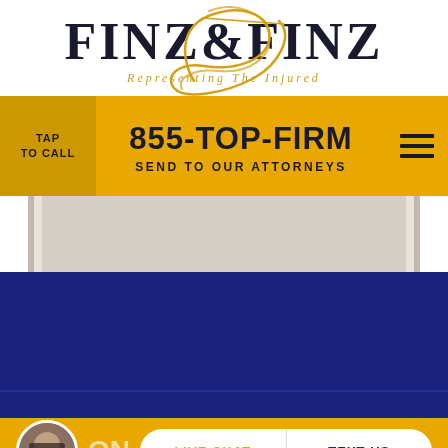[Figure (logo): Finz & Finz law firm logo with golden script F overlay and tagline 'Representing The Injured']
TAP TO CALL
855-TOP-FIRM
SEND TO OUR ATTORNEYS
[Figure (infographic): Navy blue section of website with horizontal separator line]
[Figure (infographic): Bottom bar with attorney avatar, partial text 'ON', Live Chat and Text Us buttons on gold background]